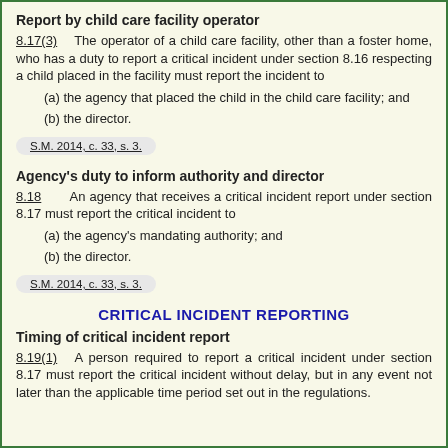Report by child care facility operator
8.17(3)    The operator of a child care facility, other than a foster home, who has a duty to report a critical incident under section 8.16 respecting a child placed in the facility must report the incident to
(a) the agency that placed the child in the child care facility; and
(b) the director.
S.M. 2014, c. 33, s. 3.
Agency's duty to inform authority and director
8.18      An agency that receives a critical incident report under section 8.17 must report the critical incident to
(a) the agency’s mandating authority; and
(b) the director.
S.M. 2014, c. 33, s. 3.
CRITICAL INCIDENT REPORTING
Timing of critical incident report
8.19(1)   A person required to report a critical incident under section 8.17 must report the critical incident without delay, but in any event not later than the applicable time period set out in the regulations.